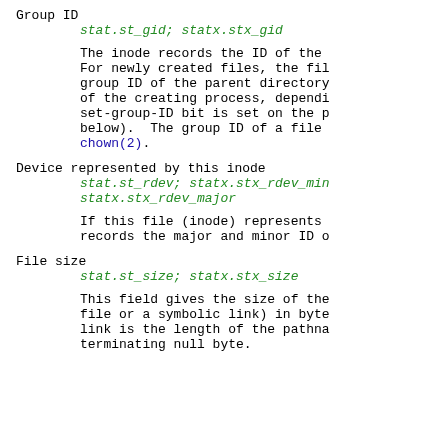Group ID
stat.st_gid; statx.stx_gid
The inode records the ID of the For newly created files, the fil group ID of the parent directory of the creating process, dependi set-group-ID bit is set on the p below).  The group ID of a file chown(2).
Device represented by this inode
stat.st_rdev; statx.stx_rdev_min statx.stx_rdev_major
If this file (inode) represents records the major and minor ID o
File size
stat.st_size; statx.stx_size
This field gives the size of the file or a symbolic link) in byte link is the length of the pathna terminating null byte.